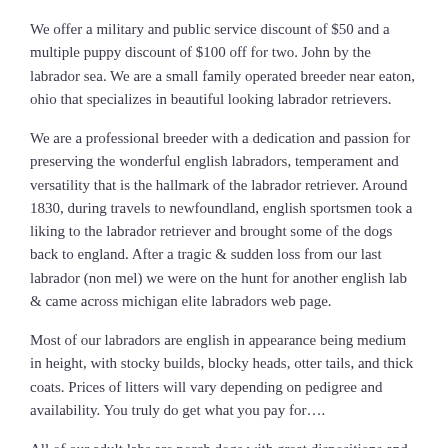We offer a military and public service discount of $50 and a multiple puppy discount of $100 off for two. John by the labrador sea. We are a small family operated breeder near eaton, ohio that specializes in beautiful looking labrador retrievers.
We are a professional breeder with a dedication and passion for preserving the wonderful english labradors, temperament and versatility that is the hallmark of the labrador retriever. Around 1830, during travels to newfoundland, english sportsmen took a liking to the labrador retriever and brought some of the dogs back to england. After a tragic & sudden loss from our last labrador (non mel) we were on the hunt for another english lab & came across michigan elite labradors web page.
Most of our labradors are english in appearance being medium in height, with stocky builds, blocky heads, otter tails, and thick coats. Prices of litters will vary depending on pedigree and availability. You truly do get what you pay for….
All of our adult labs are porch dogs with great dispositions and are all apart of our family! Sterling lab puppies english labrador retrievers. Barton creek labrador retrievers, english labrador retrievers texas hill country, english labrador puppies texas, labrador retrievers texas, labrador retriever breeders